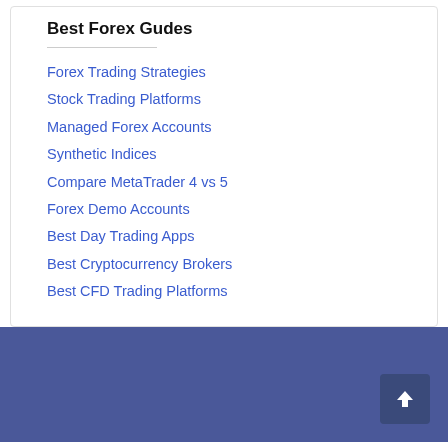Best Forex Gudes
Forex Trading Strategies
Stock Trading Platforms
Managed Forex Accounts
Synthetic Indices
Compare MetaTrader 4 vs 5
Forex Demo Accounts
Best Day Trading Apps
Best Cryptocurrency Brokers
Best CFD Trading Platforms